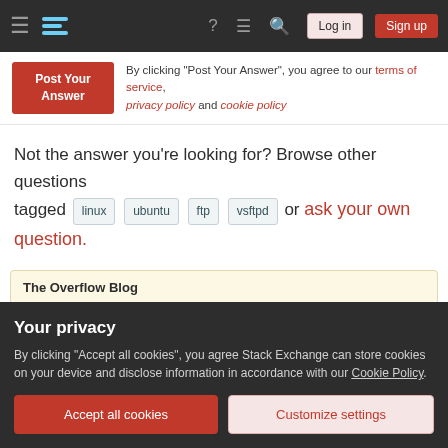Stack Exchange navigation bar with Log in and Sign up buttons
By clicking "Post Your Answer", you agree to our terms of service, privacy policy and cookie policy
Not the answer you're looking for? Browse other questions tagged linux ubuntu ftp vsftpd or ask your own question.
The Overflow Blog
Environments on-demand (Ep. 479)
Featured on Meta
Your privacy
By clicking "Accept all cookies", you agree Stack Exchange can store cookies on your device and disclose information in accordance with our Cookie Policy.
Accept all cookies  Customize settings
Linked